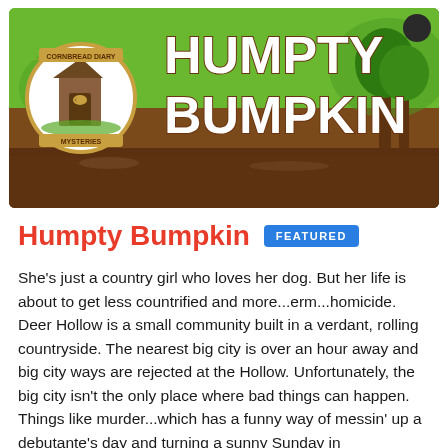[Figure (illustration): Book cover for 'Humpty Bumpkin' from the Cornbread Diary Mysteries series. Features a green and brown background with trees, an outhouse inside a circular badge on the left, and large white text reading 'HUMPTY BUMPKIN' on the right.]
Humpty Bumpkin
She's just a country girl who loves her dog. But her life is about to get less countrified and more...erm...homicide. Deer Hollow is a small community built in a verdant, rolling countryside. The nearest big city is over an hour away and big city ways are rejected at the Hollow. Unfortunately, the big city isn't the only place where bad things can happen. Things like murder...which has a funny way of messin' up a debutante's day and turning a sunny Sunday in